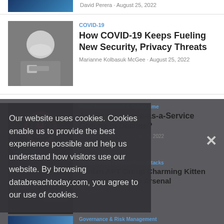David Perera · August 25, 2022
[Figure (photo): Cybersecurity themed image (partial, top of page)]
[Figure (photo): Person wearing face mask at an event]
COVID-19
How COVID-19 Keeps Fueling New Security, Privacy Threats
Marianne Kolbasuk McGee · August 25, 2022
[Figure (photo): Dark cybersecurity themed image with lock icon]
Fraud Management & Cybercrime
Are Ransomware-as-a-Service Groups in Decline?
Mathew J. Schwartz · August 25, 2022
[Figure (photo): Hands on keyboard or device]
Cyberwarfare / Nation-State Attacks
Iranian APT Group Charming Kitten Expands Malware Arsenal
August 24, 2022
[Figure (photo): Partial image, bottom of page]
Governance & Risk Management
Our website uses cookies. Cookies enable us to provide the best experience possible and help us understand how visitors use our website. By browsing databreachtoday.com, you agree to our use of cookies.